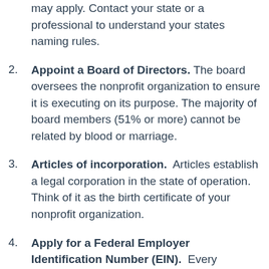may apply. Contact your state or a professional to understand your states naming rules.
Appoint a Board of Directors. The board oversees the nonprofit organization to ensure it is executing on its purpose. The majority of board members (51% or more) cannot be related by blood or marriage.
Articles of incorporation. Articles establish a legal corporation in the state of operation. Think of it as the birth certificate of your nonprofit organization.
Apply for a Federal Employer Identification Number (EIN). Every organization is required to have an EIN number from the IRS. An EIN is like a social security number for your nonprofit. Please note that having an EIN does